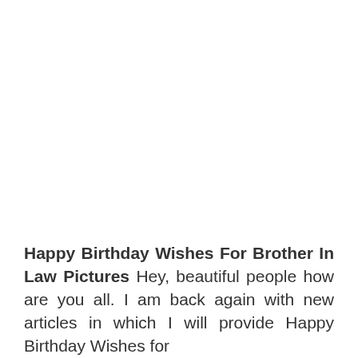Happy Birthday Wishes For Brother In Law Pictures Hey, beautiful people how are you all. I am back again with new articles in which I will provide Happy Birthday Wishes for